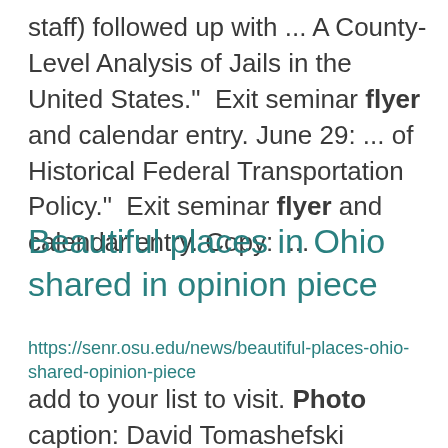staff) followed up with ... A County-Level Analysis of Jails in the United States."  Exit seminar flyer and calendar entry. June 29: ... of Historical Federal Transportation Policy."  Exit seminar flyer and calendar entry. Copy:  ...
Beautiful places in Ohio shared in opinion piece
https://senr.osu.edu/news/beautiful-places-ohio-shared-opinion-piece
add to your list to visit. Photo caption: David Tomashefski standing in a lush floodplain forest in ...